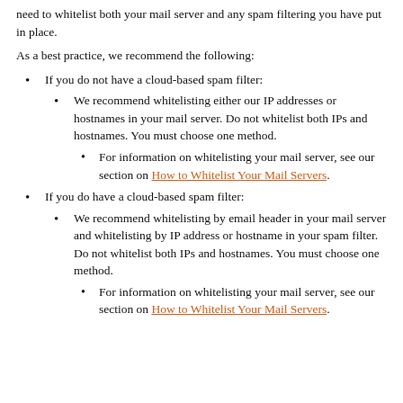need to whitelist both your mail server and any spam filtering you have put in place.
As a best practice, we recommend the following:
If you do not have a cloud-based spam filter:
We recommend whitelisting either our IP addresses or hostnames in your mail server. Do not whitelist both IPs and hostnames. You must choose one method.
For information on whitelisting your mail server, see our section on How to Whitelist Your Mail Servers.
If you do have a cloud-based spam filter:
We recommend whitelisting by email header in your mail server and whitelisting by IP address or hostname in your spam filter. Do not whitelist both IPs and hostnames. You must choose one method.
For information on whitelisting your mail server, see our section on How to Whitelist Your Mail Servers.